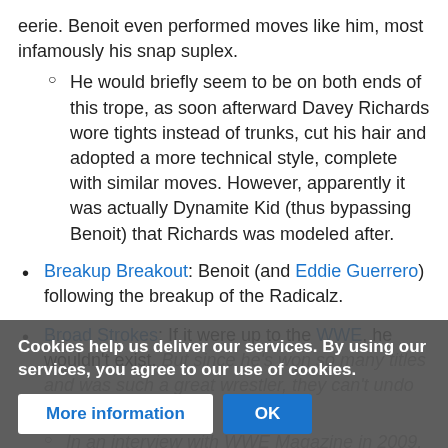eerie. Benoit even performed moves like him, most infamously his snap suplex.
He would briefly seem to be on both ends of this trope, as soon afterward Davey Richards wore tights instead of trunks, cut his hair and adopted a more technical style, complete with similar moves. However, apparently it was actually Dynamite Kid (thus bypassing Benoit) that Richards was modeled after.
Breakup Breakout: Benoit (and Eddie Guerrero) following the breakup of the Radicalz.
Broad Strokes: If it were up to the WWE, he wouldn't exist. But since he's won so many titles and was such a great wrestler, they can't undo the past.
In an interview with WWE Magazine in 2009, Vince McMahon... Simpson
Cookies help us deliver our services. By using our services, you agree to our use of cookies.